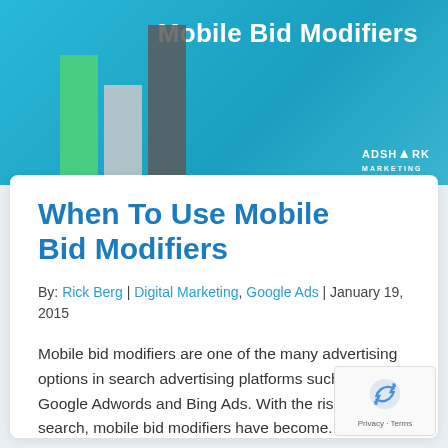[Figure (illustration): Blue gradient header banner with three vertical bars (green, gray, dark gray) rising from the bottom, and the text 'Mobile Bid Modifiers' in white bold font, with ADSHARK MARKETING logo in bottom right]
When To Use Mobile Bid Modifiers
By: Rick Berg | Digital Marketing, Google Ads | January 19, 2015
Mobile bid modifiers are one of the many advertising options in search advertising platforms such as Google Adwords and Bing Ads. With the rise of mobile search, mobile bid modifiers have become...
Read This Post